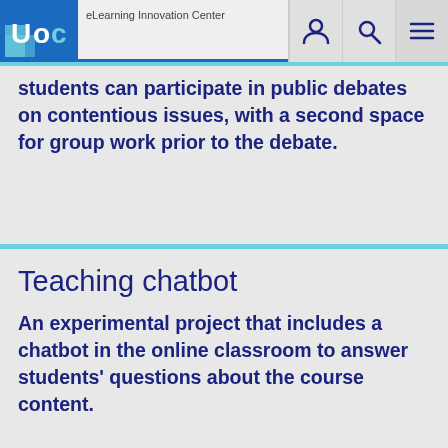eLearning Innovation Center
students can participate in public debates on contentious issues, with a second space for group work prior to the debate.
Teaching chatbot
An experimental project that includes a chatbot in the online classroom to answer students' questions about the course content.